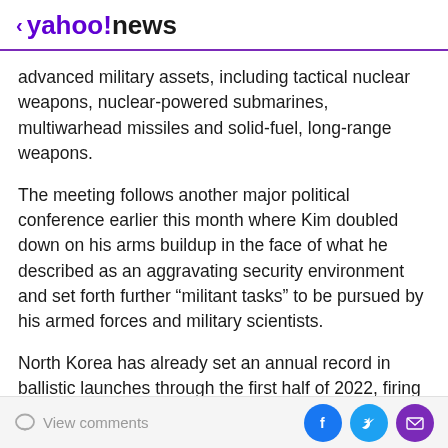< yahoo!news
advanced military assets, including tactical nuclear weapons, nuclear-powered submarines, multiwarhead missiles and solid-fuel, long-range weapons.
The meeting follows another major political conference earlier this month where Kim doubled down on his arms buildup in the face of what he described as an aggravating security environment and set forth further “militant tasks” to be pursued by his armed forces and military scientists.
North Korea has already set an annual record in ballistic launches through the first half of 2022, firing 31 missiles in over 18 different launch events, including its first
View comments